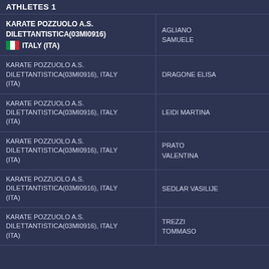ATHLETES 1
| Club | Athlete |
| --- | --- |
| KARATE POZZUOLO A.S. DILETTANTISTICA(03MI0916) ITALY (ITA) | AGLIANO SAMUELE |
| KARATE POZZUOLO A.S. DILETTANTISTICA(03MI0916), ITALY (ITA) | DRAGONE ELISA |
| KARATE POZZUOLO A.S. DILETTANTISTICA(03MI0916), ITALY (ITA) | LEIDI MARTINA |
| KARATE POZZUOLO A.S. DILETTANTISTICA(03MI0916), ITALY (ITA) | PRATO VALENTINA |
| KARATE POZZUOLO A.S. DILETTANTISTICA(03MI0916), ITALY (ITA) | SEDLAR VASILIJE |
| KARATE POZZUOLO A.S. DILETTANTISTICA(03MI0916), ITALY (ITA) | TREZZI TOMMASO |